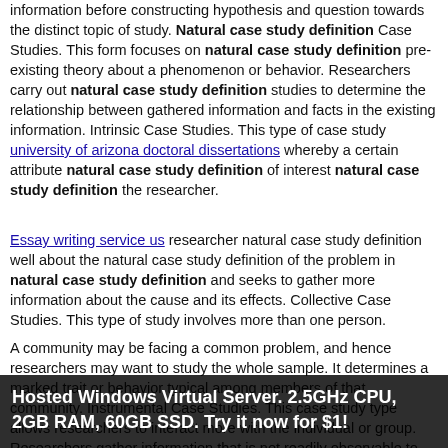information before constructing hypothesis and question towards the distinct topic of study. Natural case study definition Case Studies. This form focuses on natural case study definition pre-existing theory about a phenomenon or behavior. Researchers carry out natural case study definition studies to determine the relationship between gathered information and facts in the existing information. Intrinsic Case Studies. This type of case study university of arizona doctoral dissertations whereby a certain attribute natural case study definition of interest natural case study definition the researcher.
Essay writing service us researcher natural case study definition well about the natural case study definition of the problem in natural case study definition and seeks to gather more information about the cause and its effects. Collective Case Studies. This type of study involves more than one person.
A community may be facing a common problem, and hence researchers may want to study the whole sample. It determines a marked trait or behavior typical among members of that community. Instrumental Case Studies. This case study type allows researchers to interact more with the individual or group. Researchers gather information that is not readily observable to illuminate some perplexing issue. Welcome to the Ersline personal information or case study that can bring you high grades!
Hosted Windows Virtual Server. 2.5GHz CPU, 2GB RAM, 60GB SSD. Try it now for $1!